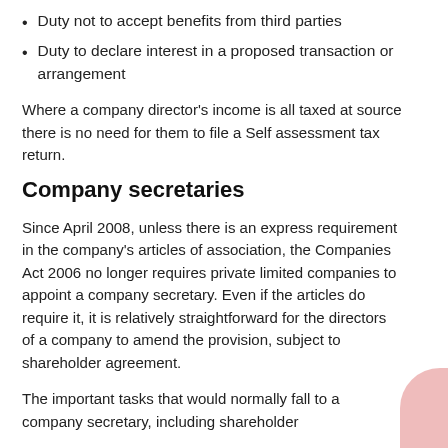Duty not to accept benefits from third parties
Duty to declare interest in a proposed transaction or arrangement
Where a company director's income is all taxed at source there is no need for them to file a Self assessment tax return.
Company secretaries
Since April 2008, unless there is an express requirement in the company's articles of association, the Companies Act 2006 no longer requires private limited companies to appoint a company secretary. Even if the articles do require it, it is relatively straightforward for the directors of a company to amend the provision, subject to shareholder agreement.
The important tasks that would normally fall to a company secretary, including shareholder